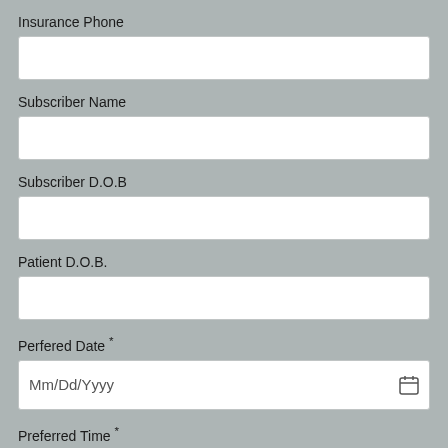Insurance Phone
Subscriber Name
Subscriber D.O.B
Patient D.O.B.
Perfered Date *
Preferred Time *